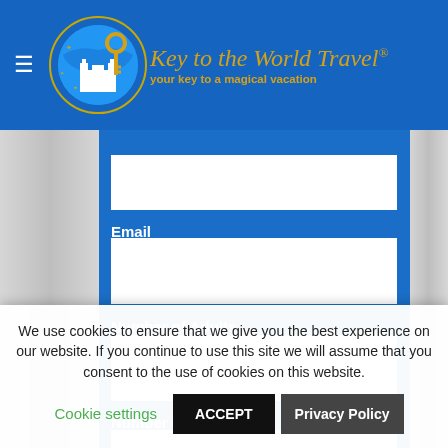Key to the World Travel – your key to a magical vacation
Email
Number of Adults
Number of Kids
We use cookies to ensure that we give you the best experience on our website. If you continue to use this site we will assume that you consent to the use of cookies on this website.
Cookie settings
ACCEPT
Privacy Policy